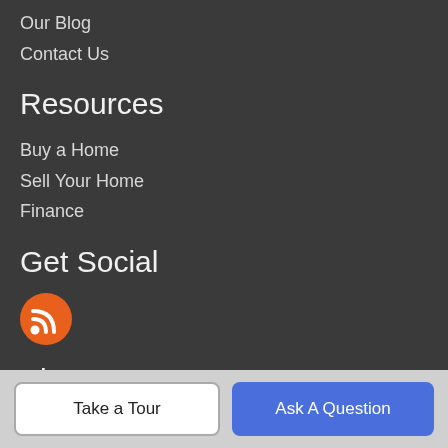Our Blog
Contact Us
Resources
Buy a Home
Sell Your Home
Finance
Get Social
[Figure (illustration): Orange RSS feed icon (circle with wifi/feed symbol)]
About Us
Right Find Homes is Myrtle Beach's most innovative real estate team.
Take a Tour
Ask A Question